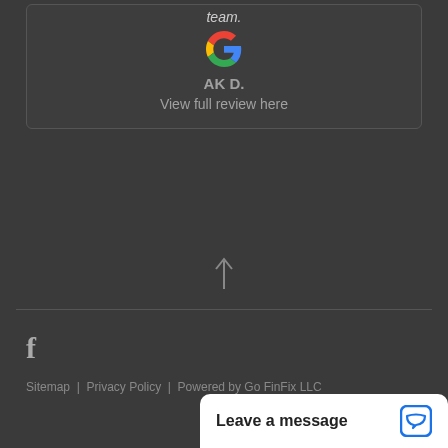team.
[Figure (logo): Google 'G' logo in multicolor]
AK D.
View full review here
[Figure (other): Up arrow icon]
[Figure (logo): Facebook 'f' icon]
Sitemap  |  Privacy Policy  |  Powered by Go FinFix LLC
Leave a message